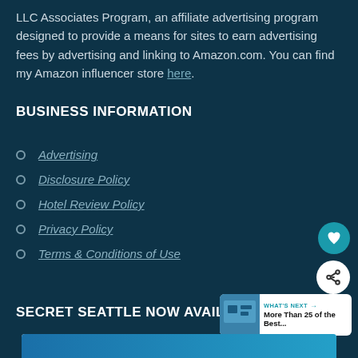LLC Associates Program, an affiliate advertising program designed to provide a means for sites to earn advertising fees by advertising and linking to Amazon.com. You can find my Amazon influencer store here.
BUSINESS INFORMATION
Advertising
Disclosure Policy
Hotel Review Policy
Privacy Policy
Terms & Conditions of Use
SECRET SEATTLE NOW AVAILABLE
[Figure (photo): Partial view of a book cover at the bottom of the page]
WHAT'S NEXT → More Than 25 of the Best...